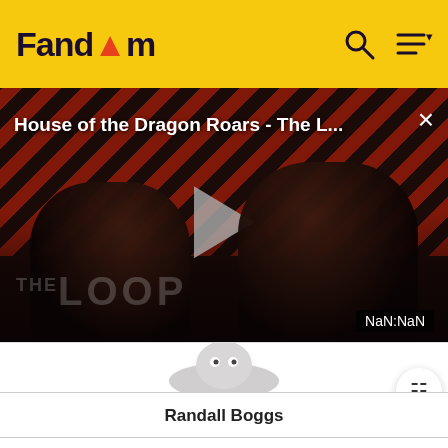Fandom
[Figure (screenshot): Video player overlay showing 'House of the Dragon Roars - The L...' with diagonal red/dark striped background, play button, two dark silhouette figures, THE LOOP logo watermark, NaN:NaN timestamp badge, and a close (×) button.]
[Figure (illustration): Partial view of Randall Boggs character illustration from Monsters Inc. on white background]
Randall Boggs
Background information